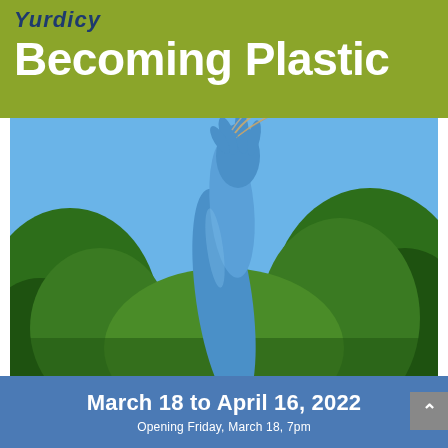Yurdioy
Becoming Plastic
[Figure (photo): A blue latex/rubber gloved arm reaching upward against a bright blue sky, with green hedges/bushes in the background, hand holding a strand of hair.]
March 18 to April 16, 2022
Opening Friday, March 18, 7pm